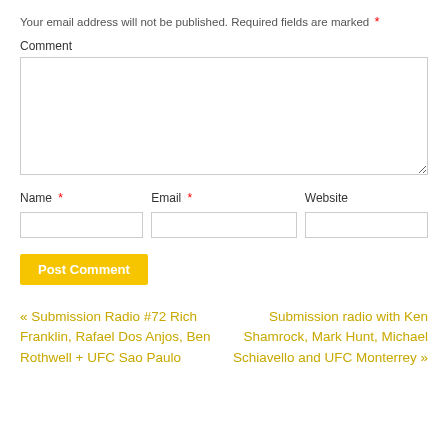Your email address will not be published. Required fields are marked *
Comment
Name * Email * Website
[Figure (screenshot): Comment form with fields for Name, Email, Website, a Post Comment button, and navigation links.]
Post Comment
« Submission Radio #72 Rich Franklin, Rafael Dos Anjos, Ben Rothwell + UFC Sao Paulo
Submission radio with Ken Shamrock, Mark Hunt, Michael Schiavello and UFC Monterrey »